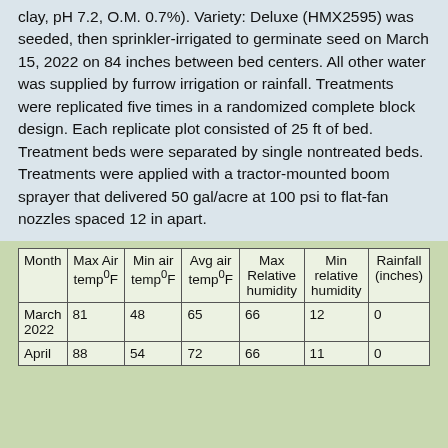clay, pH 7.2, O.M. 0.7%). Variety: Deluxe (HMX2595) was seeded, then sprinkler-irrigated to germinate seed on March 15, 2022 on 84 inches between bed centers. All other water was supplied by furrow irrigation or rainfall. Treatments were replicated five times in a randomized complete block design. Each replicate plot consisted of 25 ft of bed. Treatment beds were separated by single nontreated beds. Treatments were applied with a tractor-mounted boom sprayer that delivered 50 gal/acre at 100 psi to flat-fan nozzles spaced 12 in apart.
| Month | Max Air temp°F | Min air temp°F | Avg air temp°F | Max Relative humidity | Min relative humidity | Rainfall (inches) |
| --- | --- | --- | --- | --- | --- | --- |
| March 2022 | 81 | 48 | 65 | 66 | 12 | 0 |
| April | 88 | 54 | 72 | 66 | 11 | 0 |